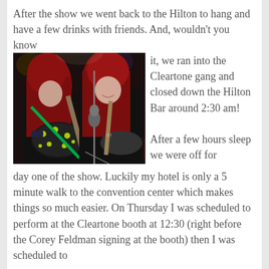After the show we went back to the Hilton to hang and have a few drinks with friends.  And, wouldn't you know it, we ran into the Cleartone gang and closed down the Hilton Bar around 2:30 am!
[Figure (photo): Two people with red hair playing electric guitars on stage, one holding a polka-dot decorated guitar, with microphone stands in front of them.]
After a few hours sleep we were off for day one of the show. Luckily my hotel is only a 5 minute walk to the convention center which makes things so much easier. On Thursday I was scheduled to perform at the Cleartone booth at 12:30 (right before the Corey Feldman signing at the booth) then I was scheduled to